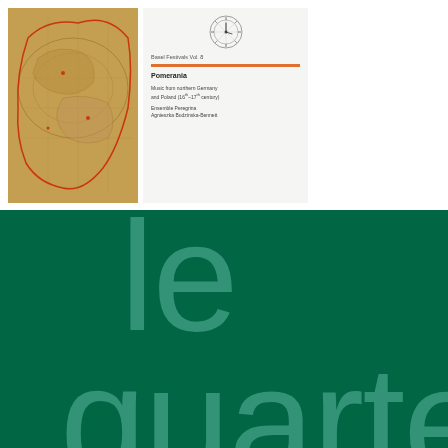[Figure (photo): CD album cover showing an old map with decorative red markings on brownish background]
[Figure (photo): CD booklet/sleeve showing a logo (clock/wheel design), series information 'Basle Festivals Vol. 8', title 'Pomerania', subtitle 'Music from northern Germany and Poland (16th-17th century)', performers 'Ensemble Peregrina, Agnieszka Budzinska-Bennett']
[Figure (photo): Dark green background with large pale blue/teal text reading 'quartett' displayed diagonally/large across the frame, partially cropped]